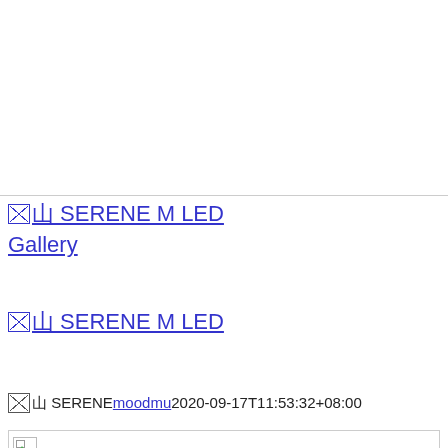[Figure (other): Top section with white space and horizontal divider line]
🗙山 SERENE M LED Gallery
🗙山 SERENE M LED
🗙山 SERENEmoodmu2020-09-17T11:53:32+08:00
[Figure (photo): Broken image placeholder with small green triangle icon]